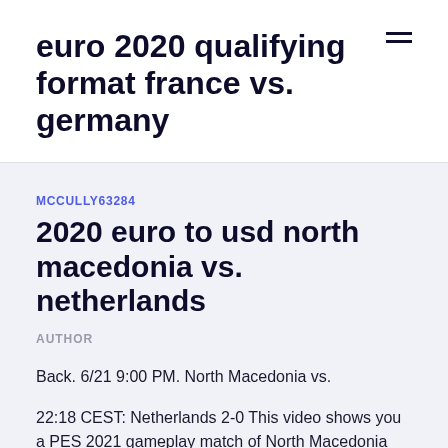euro 2020 qualifying format france vs. germany
MCCULLY63284
2020 euro to usd north macedonia vs. netherlands
AUTHOR
Back. 6/21 9:00 PM. North Macedonia vs.
22:18 CEST: Netherlands 2-0 This video shows you a PES 2021 gameplay match of North Macedonia vs.